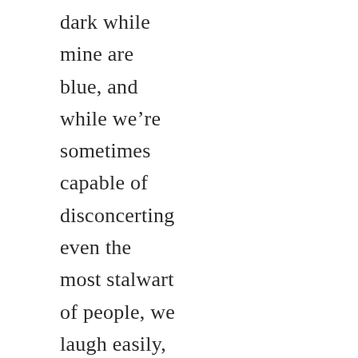dark while mine are blue, and while we're sometimes capable of disconcerting even the most stalwart of people, we laugh easily, especially when we're together.